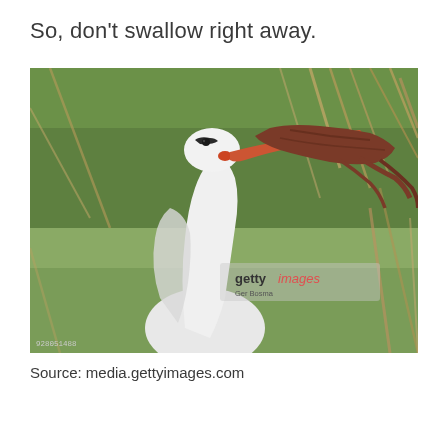So, don't swallow right away.
[Figure (photo): A white stork holding a frog or small animal in its beak, with green and brown vegetation in the background. A Getty Images watermark is visible with photographer credit 'Ger Bosma' and image number 928051486.]
Source: media.gettyimages.com